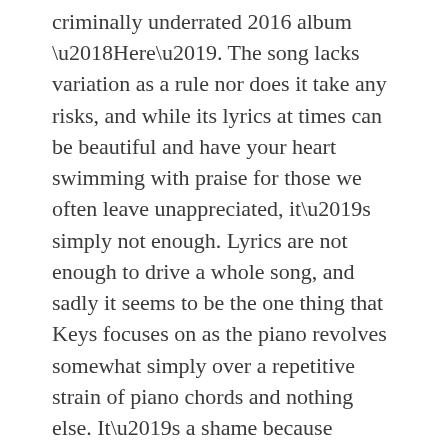criminally underrated 2016 album ‘Here’. The song lacks variation as a rule nor does it take any risks, and while its lyrics at times can be beautiful and have your heart swimming with praise for those we often leave unappreciated, it’s simply not enough. Lyrics are not enough to drive a whole song, and sadly it seems to be the one thing that Keys focuses on as the piano revolves somewhat simply over a repetitive strain of piano chords and nothing else. It’s a shame because it’s a rare case where I feel simplicity mars the song. With a little added accompaniment, even just some violins softly gracing the background, the song could have been accentuated so much better.
As much as I want to like the song for its celebration of those unsung heroes, Keys’ handling of it sadly does its message no justice and leaves it an upcoming blight on her new album. While her attempt is admirable and seems more